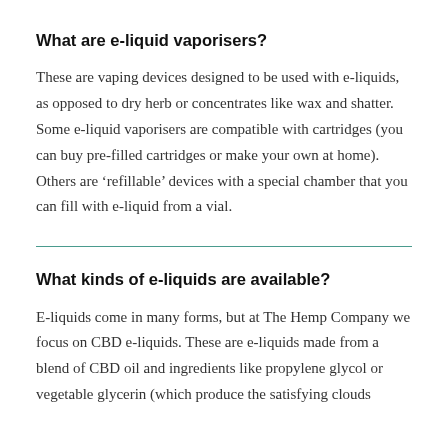What are e-liquid vaporisers?
These are vaping devices designed to be used with e-liquids, as opposed to dry herb or concentrates like wax and shatter. Some e-liquid vaporisers are compatible with cartridges (you can buy pre-filled cartridges or make your own at home). Others are ‘refillable’ devices with a special chamber that you can fill with e-liquid from a vial.
What kinds of e-liquids are available?
E-liquids come in many forms, but at The Hemp Company we focus on CBD e-liquids. These are e-liquids made from a blend of CBD oil and ingredients like propylene glycol or vegetable glycerin (which produce the satisfying clouds